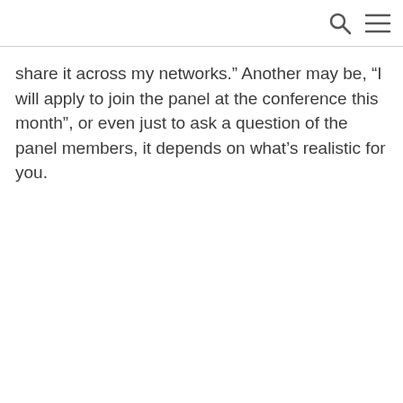share it across my networks.” Another may be, “I will apply to join the panel at the conference this month”, or even just to ask a question of the panel members, it depends on what’s realistic for you.